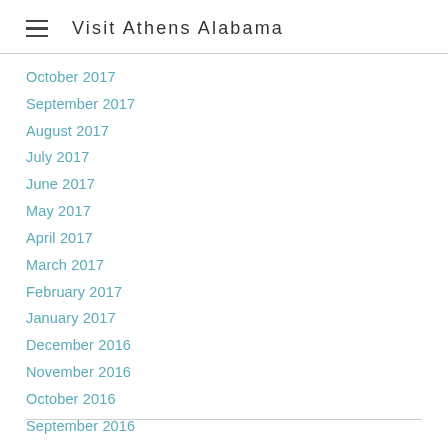Visit Athens Alabama
October 2017
September 2017
August 2017
July 2017
June 2017
May 2017
April 2017
March 2017
February 2017
January 2017
December 2016
November 2016
October 2016
September 2016